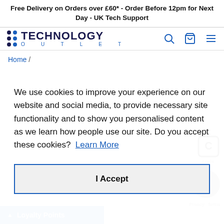Free Delivery on Orders over £60* - Order Before 12pm for Next Day - UK Tech Support
[Figure (logo): Technology Outlet logo with dot grid and blue text]
Home /
We use cookies to improve your experience on our website and social media, to provide necessary site functionality and to show you personalised content as we learn how people use our site. Do you accept these cookies? Learn More
I Accept
Loyalty Points